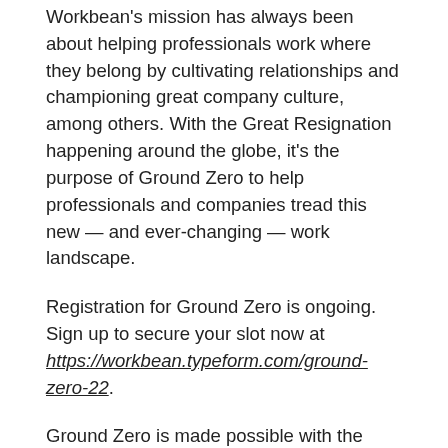Workbean's mission has always been about helping professionals work where they belong by cultivating relationships and championing great company culture, among others. With the Great Resignation happening around the globe, it's the purpose of Ground Zero to help professionals and companies tread this new — and ever-changing — work landscape.
Registration for Ground Zero is ongoing. Sign up to secure your slot now at https://workbean.typeform.com/ground-zero-22.
Ground Zero is made possible with the support of its media partners, WhenInManila.com and SparkUp.
Spotlight is BusinessWorld's sponsored section that